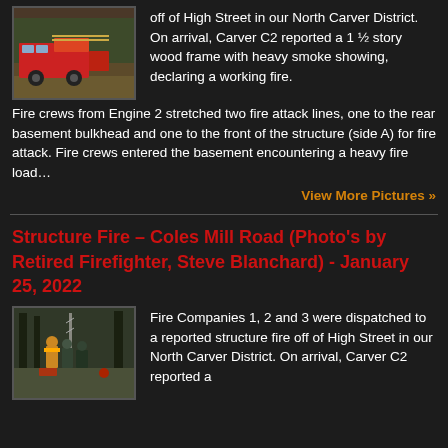[Figure (photo): Fire truck and scene photo from High Street structure fire]
off of High Street in our North Carver District. On arrival, Carver C2 reported a 1 ½ story wood frame with heavy smoke showing, declaring a working fire. Fire crews from Engine 2 stretched two fire attack lines, one to the rear basement bulkhead and one to the front of the structure (side A) for fire attack. Fire crews entered the basement encountering a heavy fire load…
View More Pictures »
Structure Fire – Coles Mill Road (Photo's by Retired Firefighter, Steve Blanchard) - January 25, 2022
[Figure (photo): Firefighters on scene at Coles Mill Road structure fire, photo by Steve Blanchard]
Fire Companies 1, 2 and 3 were dispatched to a reported structure fire off of High Street in our North Carver District. On arrival, Carver C2 reported a